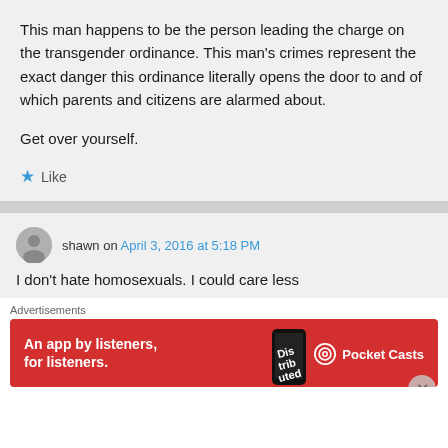This man happens to be the person leading the charge on the transgender ordinance. This man's crimes represent the exact danger this ordinance literally opens the door to and of which parents and citizens are alarmed about.

Get over yourself.
★ Like
shawn on April 3, 2016 at 5:18 PM
I don't hate homosexuals. I could care less
Advertisements
[Figure (screenshot): Red advertisement banner for Pocket Casts app reading 'An app by listeners, for listeners.']